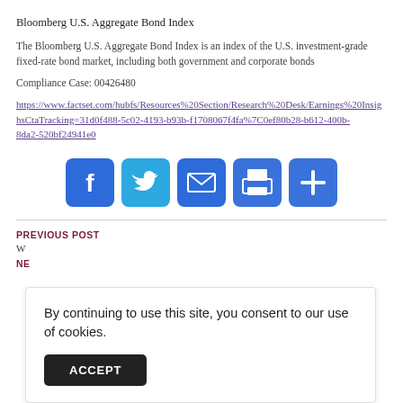Bloomberg U.S. Aggregate Bond Index
The Bloomberg U.S. Aggregate Bond Index is an index of the U.S. investment-grade fixed-rate bond market, including both government and corporate bonds
Compliance Case: 00426480
https://www.factset.com/hubfs/Resources%20Section/Research%20Desk/Earnings%20Insights%20hsCtaTracking=31d0f488-5c02-4193-b93b-f1708067f4fa%7C0ef80b28-b612-400b-8da2-520bf24941e0
[Figure (infographic): Row of 5 social sharing buttons: Facebook (blue, F icon), Twitter (light blue, bird icon), Email (blue, envelope icon), Print (blue, printer icon), Share/Plus (blue, plus icon)]
PREVIOUS POST
W...
NE...
By continuing to use this site, you consent to our use of cookies.
ACCEPT